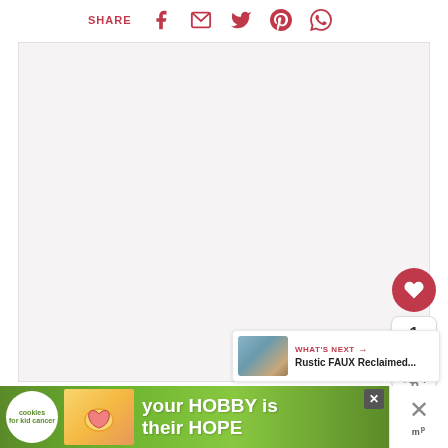SHARE
[Figure (screenshot): Main content image area (large light gray rectangle, article image placeholder)]
[Figure (infographic): Floating action buttons on right: red heart/like button, count badge showing 1, share button]
[Figure (infographic): WHAT'S NEXT card with thumbnail and text: Rustic FAUX Reclaimed...]
[Figure (infographic): Advertisement banner: cookies for kid cancer - your HOBBY is their HOPE - with close button and Mediavine logo]